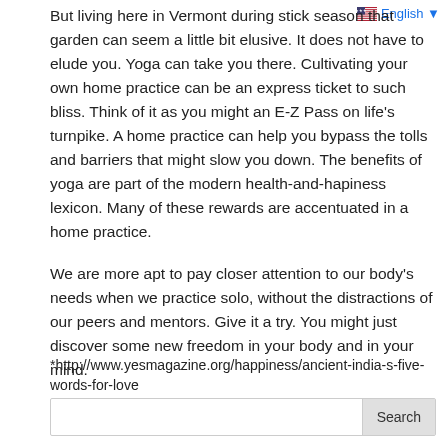🇺🇸 English ▼
But living here in Vermont during stick season that garden can seem a little bit elusive. It does not have to elude you. Yoga can take you there. Cultivating your own home practice can be an express ticket to such bliss. Think of it as you might an E-Z Pass on life's turnpike. A home practice can help you bypass the tolls and barriers that might slow you down. The benefits of yoga are part of the modern health-and-hapiness lexicon. Many of these rewards are accentuated in a home practice.
We are more apt to pay closer attention to our body's needs when we practice solo, without the distractions of our peers and mentors. Give it a try. You might just discover some new freedom in your body and in your mind.
*http://www.yesmagazine.org/happiness/ancient-india-s-five-words-for-love